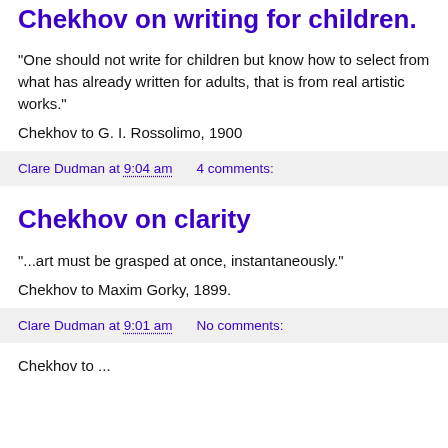Chekhov on writing for children.
"One should not write for children but know how to select from what has already written for adults, that is from real artistic works."
Chekhov to G. I. Rossolimo, 1900
Clare Dudman at 9:04 am    4 comments:
Chekhov on clarity
"...art must be grasped at once, instantaneously."
Chekhov to Maxim Gorky, 1899.
Clare Dudman at 9:01 am    No comments:
Chekhov to ...